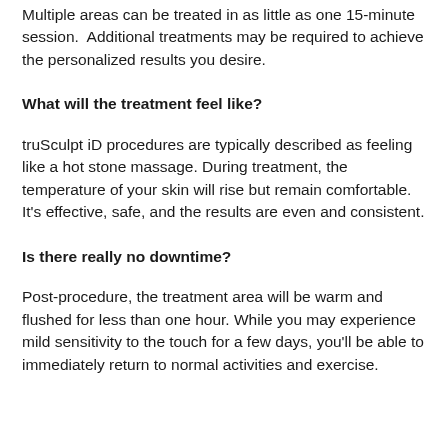Multiple areas can be treated in as little as one 15-minute session.  Additional treatments may be required to achieve the personalized results you desire.
What will the treatment feel like?
truSculpt iD procedures are typically described as feeling like a hot stone massage. During treatment, the temperature of your skin will rise but remain comfortable. It's effective, safe, and the results are even and consistent.
Is there really no downtime?
Post-procedure, the treatment area will be warm and flushed for less than one hour. While you may experience mild sensitivity to the touch for a few days, you'll be able to immediately return to normal activities and exercise.